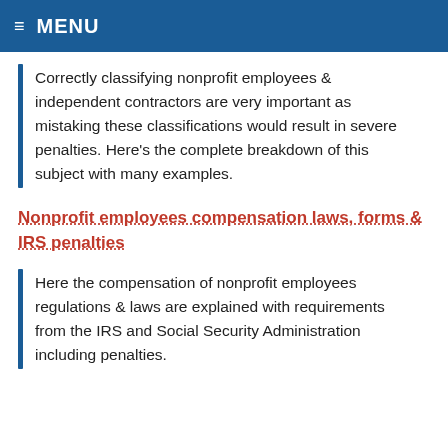≡ MENU
Correctly classifying nonprofit employees & independent contractors are very important as mistaking these classifications would result in severe penalties. Here's the complete breakdown of this subject with many examples.
Nonprofit employees compensation laws, forms & IRS penalties
Here the compensation of nonprofit employees regulations & laws are explained with requirements from the IRS and Social Security Administration including penalties.